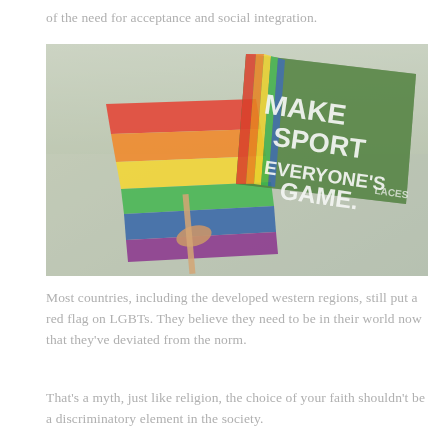of the need for acceptance and social integration.
[Figure (photo): A hand holding a rainbow pride flag alongside a green flag reading 'MAKE SPORT EVERYONE'S GAME.' with a rainbow stripe, photographed outdoors on a sports field.]
Most countries, including the developed western regions, still put a red flag on LGBTs. They believe they need to be in their world now that they've deviated from the norm.
That's a myth, just like religion, the choice of your faith shouldn't be a discriminatory element in the society.